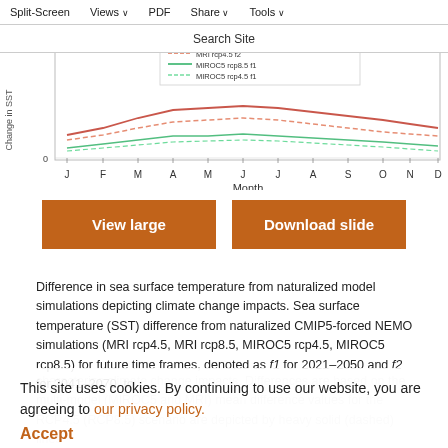Split-Screen  Views  PDF  Share  Tools
Search Site
[Figure (line-chart): Partial line chart showing Change in SST vs Month (J F M A M J J A S O N D), multiple colored lines (red, green, orange variants) representing different climate model scenarios, y-axis labeled 'Change in SST', x-axis labeled 'Month']
[Figure (other): View large button (orange) and Download slide button (orange)]
Difference in sea surface temperature from naturalized model simulations depicting climate change impacts. Sea surface temperature (SST) difference from naturalized CMIP5-forced NEMO simulations (MRI rcp4.5, MRI rcp8.5, MIROC5 rcp4.5, MIROC5 rcp8.5) for future time frames, denoted as f1 for 2021–2050 and f2 for 2041–2070, to characterize climate change impacts. Differences are based on the multi-model (MIROC5 and MRI) mean difference values for the RCP4.5 (RCP8.5) scenario are depicted by heavy solid (dashed) lines
This site uses cookies. By continuing to use our website, you are agreeing to our privacy policy. Accept